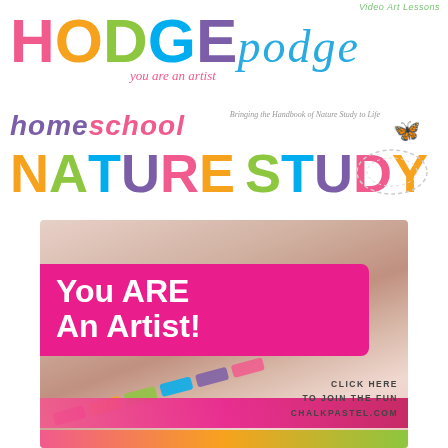Video Art Lessons
[Figure (logo): HODGEpodge You Are An Artist logo with colorful letters]
[Figure (logo): Homeschool Nature Study logo with colorful letters and butterfly. Subtitle: Bringing the Handbook of Nature Study to Life]
[Figure (photo): Photo of colorful chalk pastels on a pink background with a hot pink banner reading You ARE An Artist! and text: CLICK HERE TO JOIN THE FUN CHALKPASTEL.COM]